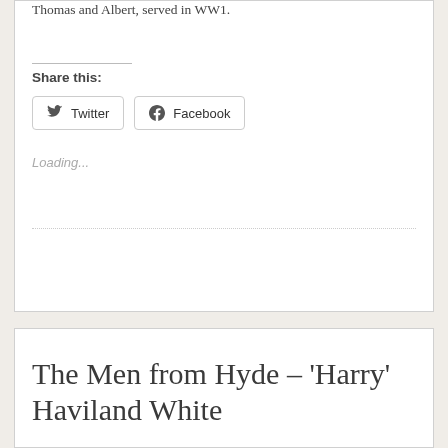Thomas and Albert, served in WW1.
Share this:
Twitter
Facebook
Loading...
The Men from Hyde – 'Harry' Haviland White